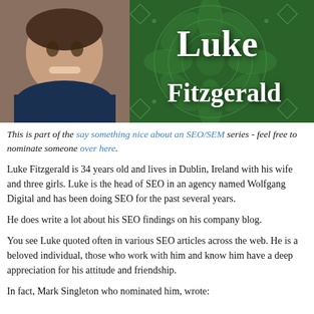[Figure (photo): Banner image showing Luke Fitzgerald's photo on the left against a green mandala/geometric patterned background, with the name 'Luke Fitzgerald' in large white bold text on the right]
This is part of the say something nice about an SEO/SEM series - feel free to nominate someone over here.
Luke Fitzgerald is 34 years old and lives in Dublin, Ireland with his wife and three girls. Luke is the head of SEO in an agency named Wolfgang Digital and has been doing SEO for the past several years.
He does write a lot about his SEO findings on his company blog.
You see Luke quoted often in various SEO articles across the web. He is a beloved individual, those who work with him and know him have a deep appreciation for his attitude and friendship.
In fact, Mark Singleton who nominated him, wrote: